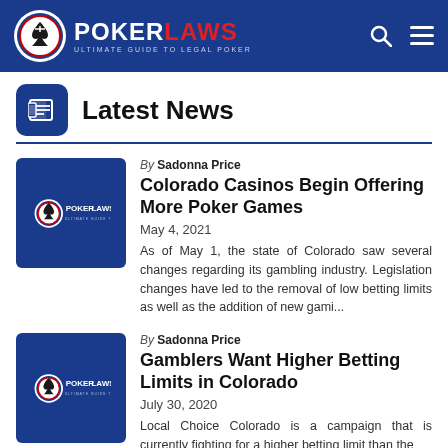POKERLAWS - Ultimate Guide To Legal Poker
Latest News
[Figure (logo): PokerLaws logo thumbnail for article 1]
By Sadonna Price
Colorado Casinos Begin Offering More Poker Games
May 4, 2021
As of May 1, the state of Colorado saw several changes regarding its gambling industry. Legislation changes have led to the removal of low betting limits as well as the addition of new gami...
[Figure (logo): PokerLaws logo thumbnail for article 2]
By Sadonna Price
Gamblers Want Higher Betting Limits in Colorado
July 30, 2020
Local Choice Colorado is a campaign that is currently fighting for a higher betting limit than the